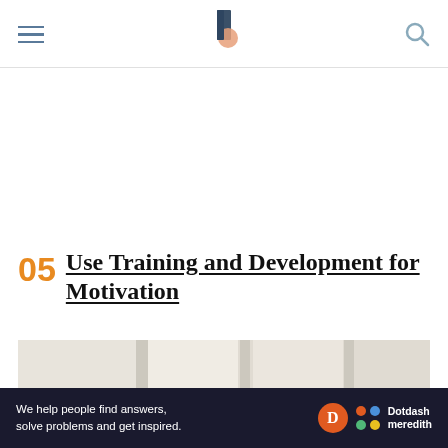Navigation bar with hamburger menu, logo, and search icon
05 Use Training and Development for Motivation
[Figure (photo): A woman presenter in black clothing gesturing to an audience of professionals in a bright, white-walled room. The audience is looking attentively at the presenter.]
Ad
We help people find answers, solve problems and get inspired. Dotdash meredith